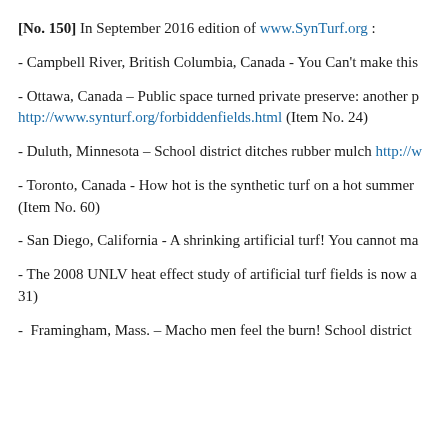[No. 150] In September 2016 edition of www.SynTurf.org :
- Campbell River, British Columbia, Canada - You Can't make this
- Ottawa, Canada – Public space turned private preserve: another p http://www.synturf.org/forbiddenfields.html (Item No. 24)
- Duluth, Minnesota – School district ditches rubber mulch http://w
- Toronto, Canada - How hot is the synthetic turf on a hot summer (Item No. 60)
- San Diego, California - A shrinking artificial turf! You cannot ma
- The 2008 UNLV heat effect study of artificial turf fields is now a 31)
-  Framingham, Mass. – Macho men feel the burn! School district